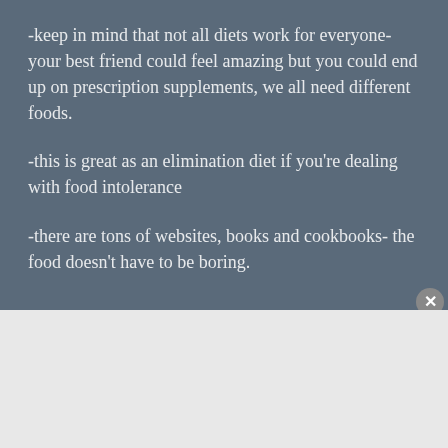-keep in mind that not all diets work for everyone- your best friend could feel amazing but you could end up on prescription supplements, we all need different foods.
-this is great as an elimination diet if you’re dealing with food intolerance
-there are tons of websites, books and cookbooks- the food doesn’t have to be boring.
[Figure (screenshot): DuckDuckGo advertisement banner with orange background showing 'Search, browse, and email with more privacy. All in One Free App' text with a phone showing the DuckDuckGo app logo]